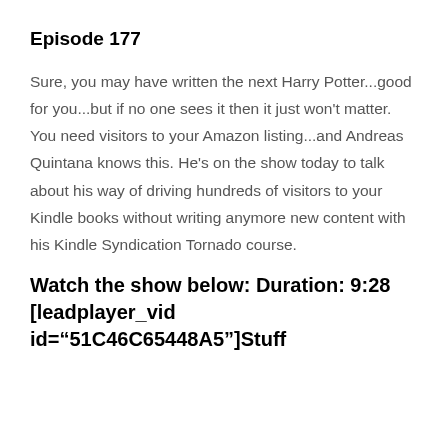Episode 177
Sure, you may have written the next Harry Potter...good for you...but if no one sees it then it just won't matter. You need visitors to your Amazon listing...and Andreas Quintana knows this. He's on the show today to talk about his way of driving hundreds of visitors to your Kindle books without writing anymore new content with his Kindle Syndication Tornado course.
Watch the show below: Duration: 9:28 [leadplayer_vid id="51C46C65448A5"]Stuff